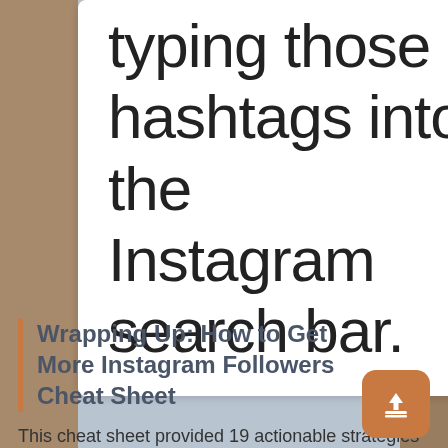typing those hashtags into the Instagram search bar.
Wrapping Up: How to Get More Instagram Followers Cheat Sheet
This cheat sheet provided 19 actionable strategies to grow your Instagram account